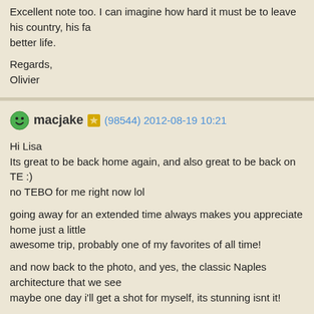Excellent note too. I can imagine how hard it must be to leave his country, his fa... better life.
Regards,
Olivier
macjake (98544) 2012-08-19 10:21

Hi Lisa
Its great to be back home again, and also great to be back on TE :)
no TEBO for me right now lol

going away for an extended time always makes you appreciate home just a little... awesome trip, probably one of my favorites of all time!

and now back to the photo, and yes, the classic Naples architecture that we see... maybe one day i'll get a shot for myself, its stunning isnt it!

wonderfully moving story in your note too, with the WS photo's too.
well done
enjoy your day, see you around
Craig
Sonata11 (34119) 2012-08-26 19:10

Hello Lisa,
what a beautiful architecture of the beautiful interior. Stunningly beautiful compo... colors, sharpness, clarity of so many details, fabulous POV. Very beautiful snap...